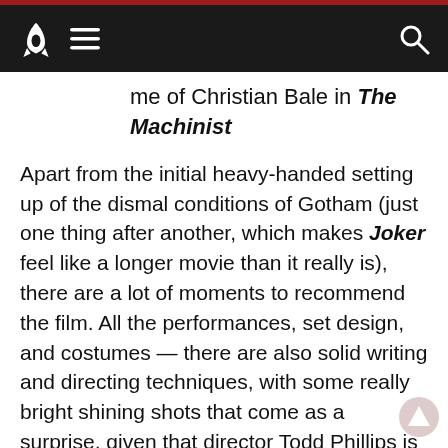[rocket logo] [hamburger menu] [search icon]
me of Christian Bale in The Machinist
Apart from the initial heavy-handed setting up of the dismal conditions of Gotham (just one thing after another, which makes Joker feel like a longer movie than it really is), there are a lot of moments to recommend the film. All the performances, set design, and costumes — there are also solid writing and directing techniques, with some really bright shining shots that come as a surprise, given that director Todd Phillips is best known for The Hangover films. While financially successful, those are not widely considered to be artistic masterpieces.
Josh: There are obvious parallels between Joker and Fight Club with the mental illness theme and focus on hapless men. But the movie I think Joker most closely resembles is Taxi Driver. The